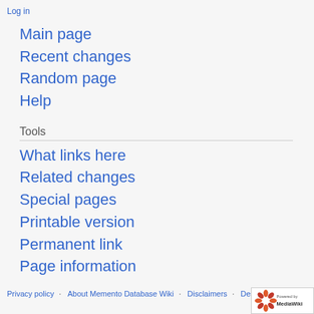Log in
Main page
Recent changes
Random page
Help
Tools
What links here
Related changes
Special pages
Printable version
Permanent link
Page information
Privacy policy   About Memento Database Wiki   Disclaimers   Desktop